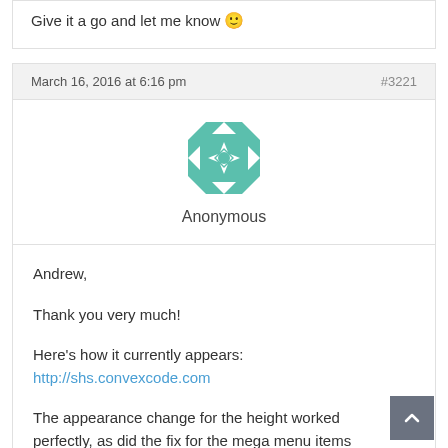Give it a go and let me know 🙂
March 16, 2016 at 6:16 pm
#3221
[Figure (illustration): Teal/green geometric quilt-pattern avatar icon for Anonymous user]
Anonymous
Andrew,
Thank you very much!
Here's how it currently appears:
http://shs.convexcode.com
The appearance change for the height worked perfectly, as did the fix for the mega menu items